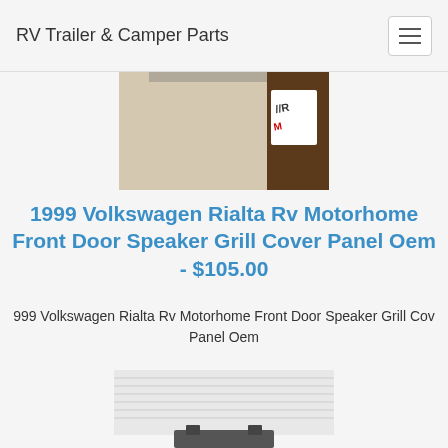RV Trailer & Camper Parts
[Figure (photo): Partial product photo showing a beige/cream interior panel with a brown edge and a white sticker with red/blue logo text visible in top right corner]
1999 Volkswagen Rialta Rv Motorhome Front Door Speaker Grill Cover Panel Oem - $105.00
999 Volkswagen Rialta Rv Motorhome Front Door Speaker Grill Cov Panel Oem
[Figure (photo): Partial product photo showing a white textured speaker grill cover panel with ribbed lines, bottom portion visible with a dark bracket/clip]